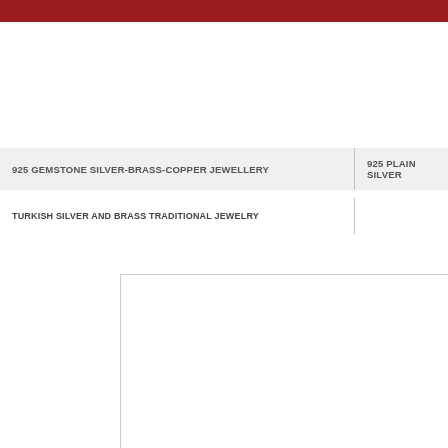925 GEMSTONE SILVER-BRASS-COPPER JEWELLERY
925 PLAIN SILVER
TURKISH SILVER AND BRASS TRADITIONAL JEWELRY
[Figure (other): Product image placeholder box]